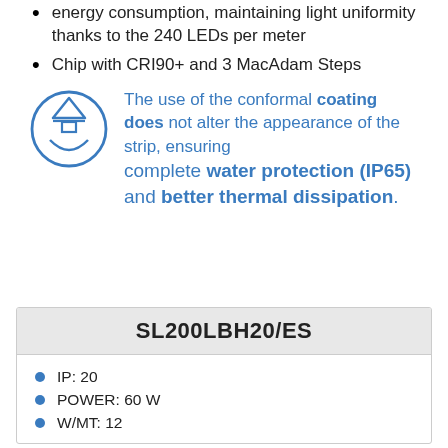energy consumption, maintaining light uniformity thanks to the 240 LEDs per meter
Chip with CRI90+ and 3 MacAdam Steps
The use of the conformal coating does not alter the appearance of the strip, ensuring complete water protection (IP65) and better thermal dissipation.
| SL200LBH20/ES |
| --- |
| IP: 20 |
| POWER: 60 W |
| W/MT: 12 |